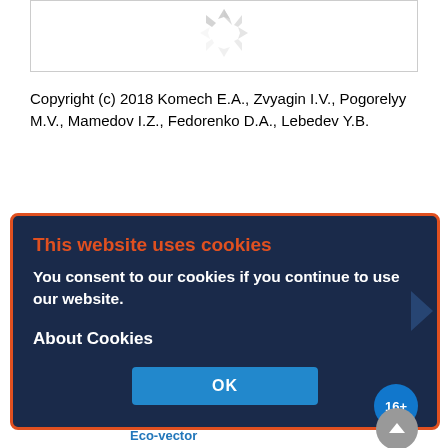[Figure (screenshot): Partial view of a bordered box with a loading spinner icon at top center, on white background]
Copyright (c) 2018 Komech E.A., Zvyagin I.V., Pogorelyy M.V., Mamedov I.Z., Fedorenko D.A., Lebedev Y.B.
[Figure (screenshot): Cookie consent modal dialog with dark navy background and orange border. Title: 'This website uses cookies' in orange. Body: 'You consent to our cookies if you continue to use our website.' Section: 'About Cookies'. OK button in blue.]
Acta Naturae
Powered by: OPEN JOURNAL SYSTEMS Optimized by: Eco-vector
Information for people over 16 y.o.